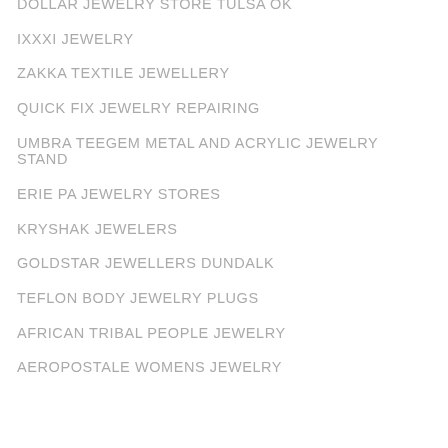DOLLAR JEWELRY STORE TULSA OK
IXXXI JEWELRY
ZAKKA TEXTILE JEWELLERY
QUICK FIX JEWELRY REPAIRING
UMBRA TEEGEM METAL AND ACRYLIC JEWELRY STAND
ERIE PA JEWELRY STORES
KRYSHAK JEWELERS
GOLDSTAR JEWELLERS DUNDALK
TEFLON BODY JEWELRY PLUGS
AFRICAN TRIBAL PEOPLE JEWELRY
AEROPOSTALE WOMENS JEWELRY